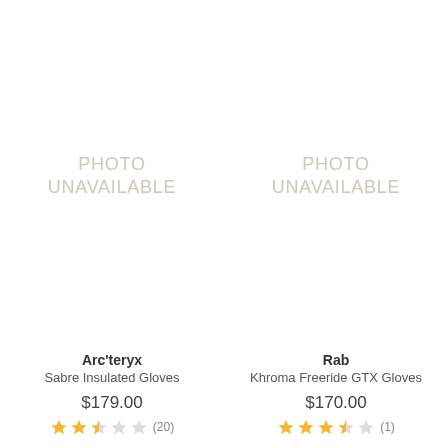[Figure (photo): Photo unavailable placeholder for Arc'teryx Sabre Insulated Gloves]
Arc'teryx
Sabre Insulated Gloves
$179.00
★★★☆☆ (20)
[Figure (photo): Photo unavailable placeholder for Rab Khroma Freeride GTX Gloves]
Rab
Khroma Freeride GTX Gloves
$170.00
★★★★☆ (1)